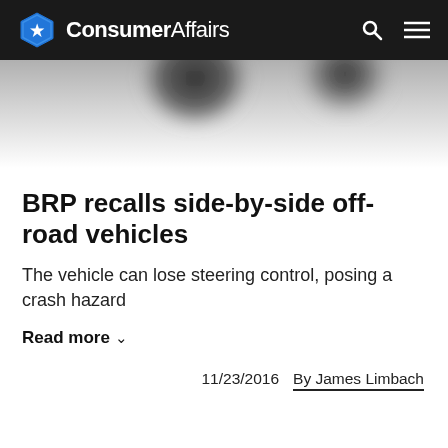ConsumerAffairs
[Figure (photo): Blurred dark spherical objects (likely off-road vehicle wheels/tires) on a light grey to white gradient background, partial overhead view]
BRP recalls side-by-side off-road vehicles
The vehicle can lose steering control, posing a crash hazard
Read more
11/23/2016   By James Limbach